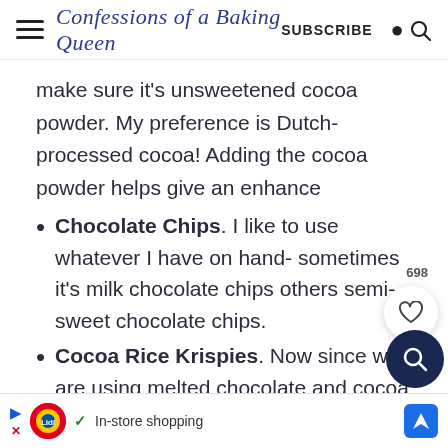Confessions of a Baking Queen  SUBSCRIBE
make sure it's unsweetened cocoa powder. My preference is Dutch-processed cocoa! Adding the cocoa powder helps give an enhance
Chocolate Chips. I like to use whatever I have on hand- sometimes it's milk chocolate chips others semi-sweet chocolate chips.
Cocoa Rice Krispies. Now since we are using melted chocolate and cocoa
[Figure (other): Ad banner for Lidl with in-store shopping text and navigation icon]